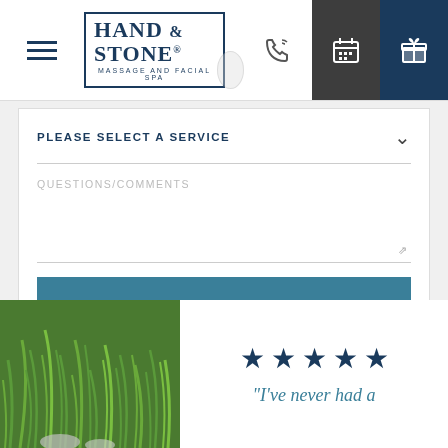[Figure (logo): Hand & Stone Massage and Facial Spa logo with hamburger menu icon and header navigation icons (phone, calendar, gift)]
PLEASE SELECT A SERVICE
QUESTIONS/COMMENTS
SEND REQUEST
[Figure (photo): Green grass/plant decorative image on the left side of review section]
★★★★★
"I've never had a